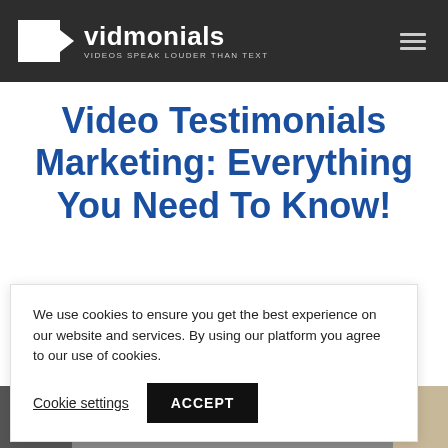vidmonials — VIDEOS SPEAK LOUDER THAN TEXT
Video Testimonials Marketing: Everything You Need To Know!
We use cookies to ensure you get the best experience on our website and services. By using our platform you agree to our use of cookies.
Cookie settings    ACCEPT